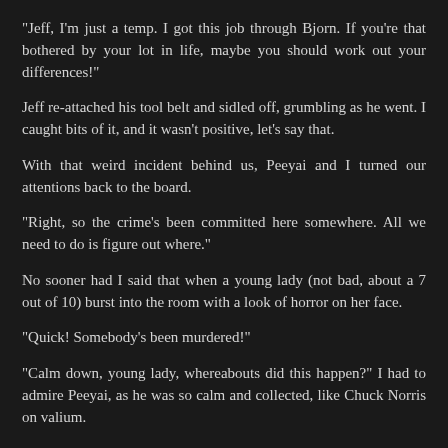"Jeff, I'm just a temp. I got this job through Bjorn. If you're that bothered by your lot in life, maybe you should work out your differences!"
Jeff re-attached his tool belt and sidled off, grumbling as he went. I caught bits of it, and it wasn't positive, let's say that.
With that weird incident behind us, Peeyai and I turned our attentions back to the board.
"Right, so the crime's been committed here somewhere. All we need to do is figure out where."
No sooner had I said that when a young lady (not bad, about a 7 out of 10) burst into the room with a look of horror on her face.
"Quick! Somebody's been murdered!"
"Calm down, young lady, whereabouts did this happen?" I had to admire Peeyai, as he was so calm and collected, like Chuck Norris on valium.